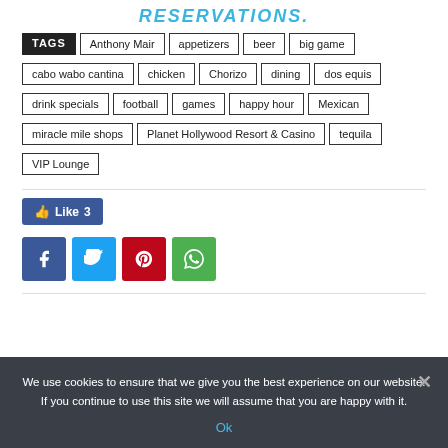RESERVATIONS.
TAGS | Anthony Mair | appetizers | beer | big game | cabo wabo cantina | chicken | Chorizo | dining | dos equis | drink specials | football | games | happy hour | Mexican | miracle mile shops | Planet Hollywood Resort & Casino | tequila | VIP Lounge
[Figure (other): Social share buttons: Like 3 (Facebook like), Facebook share, Twitter share, Pinterest share, WhatsApp share]
We use cookies to ensure that we give you the best experience on our website. If you continue to use this site we will assume that you are happy with it.
Ok